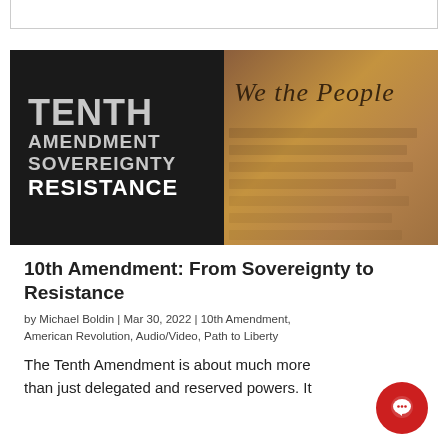[Figure (photo): Promotional image for '10th Amendment: From Sovereignty to Resistance' article. Left half shows black background with bold gray and white text reading TENTH / AMENDMENT / SOVEREIGNTY / RESISTANCE. Right half shows a close-up photo of the US Constitution parchment with 'We the People' visible in cursive script, on a wooden surface.]
10th Amendment: From Sovereignty to Resistance
by Michael Boldin | Mar 30, 2022 | 10th Amendment, American Revolution, Audio/Video, Path to Liberty
The Tenth Amendment is about much more than just delegated and reserved powers. It